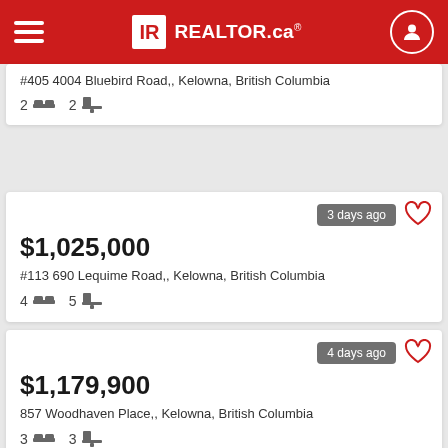REALTOR.ca
#405 4004 Bluebird Road,, Kelowna, British Columbia
2 bed  2 bath
3 days ago
$1,025,000
#113 690 Lequime Road,, Kelowna, British Columbia
4 bed  5 bath
4 days ago
$1,179,900
857 Woodhaven Place,, Kelowna, British Columbia
3 bed  3 bath